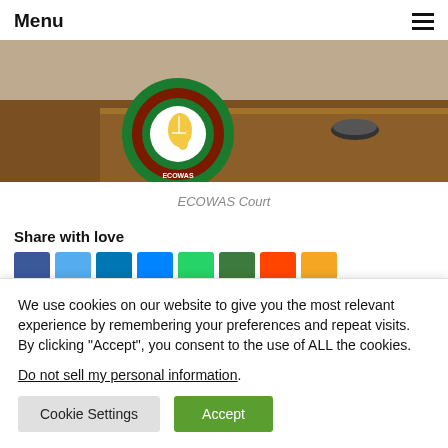Menu
[Figure (photo): ECOWAS logo and courtroom table photo]
ECOWAS Court
Share with love
[Figure (other): Row of social media share buttons (Facebook, Twitter, LinkedIn, Messenger, WhatsApp, other, Reddit, email)]
We use cookies on our website to give you the most relevant experience by remembering your preferences and repeat visits. By clicking “Accept”, you consent to the use of ALL the cookies.
Do not sell my personal information.
Cookie Settings
Accept